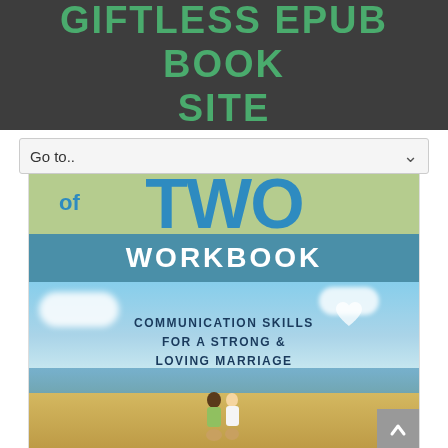GIFTLESS EPUB BOOK SITE
Go to..
[Figure (illustration): Book cover for 'of Two Workbook: Communication Skills for a Strong & Loving Marriage'. Shows a green top band with 'of TWO' in blue text, a teal band with 'WORKBOOK', and a beach scene with two figures sitting together, clouds, sky and ocean in background.]